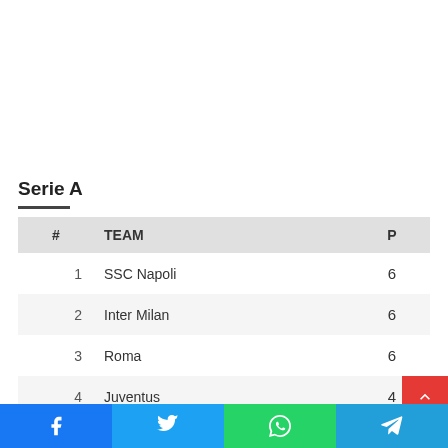Serie A
| # | TEAM | P |
| --- | --- | --- |
| 1 | SSC Napoli | 6 |
| 2 | Inter Milan | 6 |
| 3 | Roma | 6 |
| 4 | Juventus | 4 |
| 5 | AC Milan | 4 |